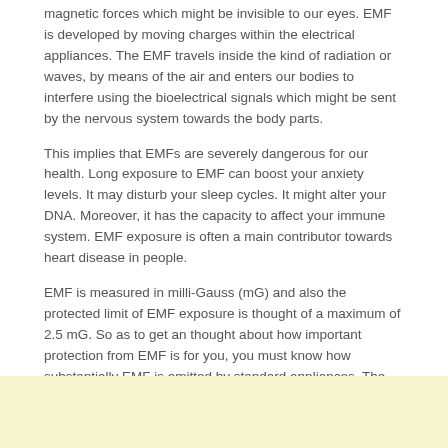magnetic forces which might be invisible to our eyes. EMF is developed by moving charges within the electrical appliances. The EMF travels inside the kind of radiation or waves, by means of the air and enters our bodies to interfere using the bioelectrical signals which might be sent by the nervous system towards the body parts.
This implies that EMFs are severely dangerous for our health. Long exposure to EMF can boost your anxiety levels. It may disturb your sleep cycles. It might alter your DNA. Moreover, it has the capacity to affect your immune system. EMF exposure is often a main contributor towards heart disease in people.
EMF is measured in milli-Gauss (mG) and also the protected limit of EMF exposure is thought of a maximum of 2.5 mG. So as to get an thought about how important protection from EMF is for you, you must know how substantially EMF is emitted by standard appliances. The oven emits among 100 to 500 mG. A vacuum cleaner emits as much as 1300 mG of EMF. A hair dryer has the capacity to emit up to 20,000 mG of EMF. As a result, we must employ techniques that offer us protection from EMF.